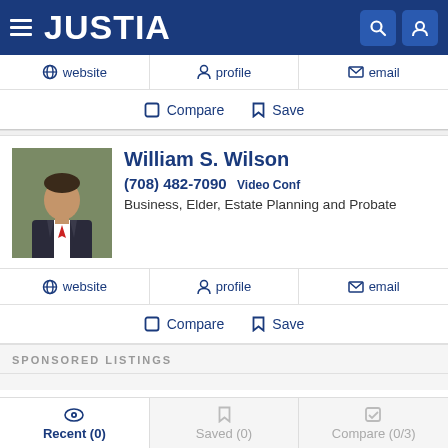JUSTIA
website  profile  email
Compare  Save
William S. Wilson
(708) 482-7090 Video Conf
Business, Elder, Estate Planning and Probate
website  profile  email
Compare  Save
SPONSORED LISTINGS
Recent (0)  Saved (0)  Compare (0/3)